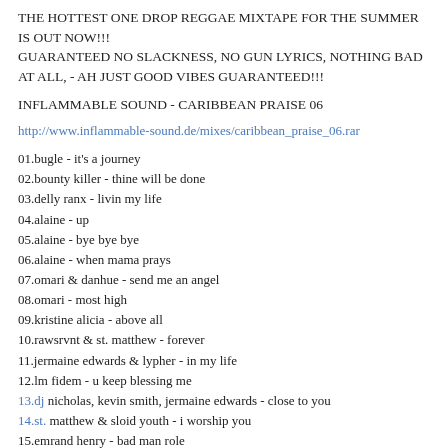THE HOTTEST ONE DROP REGGAE MIXTAPE FOR THE SUMMER IS OUT NOW!!!
GUARANTEED NO SLACKNESS, NO GUN LYRICS, NOTHING BAD AT ALL, - AH JUST GOOD VIBES GUARANTEED!!!
INFLAMMABLE SOUND - CARIBBEAN PRAISE 06
http://www.inflammable-sound.de/mixes/caribbean_praise_06.rar
01.bugle - it's a journey
02.bounty killer - thine will be done
03.delly ranx - livin my life
04.alaine - up
05.alaine - bye bye bye
06.alaine - when mama prays
07.omari & danhue - send me an angel
08.omari - most high
09.kristine alicia - above all
10.rawsrvnt & st. matthew - forever
11.jermaine edwards & lypher - in my life
12.lm fidem - u keep blessing me
13.dj nicholas, kevin smith, jermaine edwards - close to you
14.st. matthew & sloid youth - i worship you
15.emrand henry - bad man role
16.dafari - it's your year uganda
17.papa san - god is love
18.richie stephens - god is on my side
19.st. matthew - who god bless